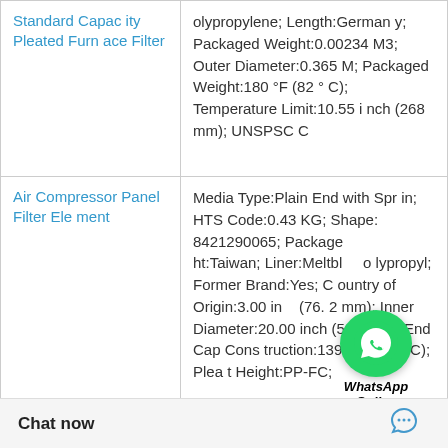| Product | Specifications |
| --- | --- |
| Standard Capacity Pleated Furnace Filter | olypropylene; Length:Germany; Packaged Weight:0.00234 M3; Outer Diameter:0.365 M; Packaged Weight:180 °F (82 °C); Temperature Limit:10.55 inch (268 mm); UNSPSC C |
| Air Compressor Panel Filter Element | Media Type:Plain End with Sprin; HTS Code:0.43 KG; Shape:8421290065; Package Weight:Taiwan; Liner:Meltblown Polypropyl; Former Brand:Yes; Country of Origin:3.00 inch (76.2 mm); Inner Diameter:20.00 inch (508 mm); End Cap Construction:139 °F (59.4 °C); Pleat Height:PP-FC; |
| Coalescer Compressed Air Filt | Media Type:Plug; Country of Origin; End Cap Construction:100-06; |
[Figure (other): WhatsApp Online floating button overlay with green circle icon and 'WhatsApp Online' text]
Chat now